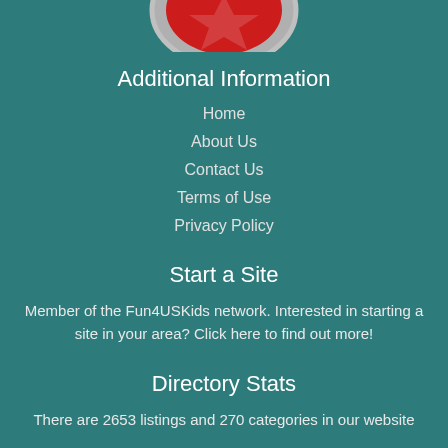[Figure (logo): Partial logo of Fun4USKids network, showing red and gray circular emblem, cropped at top]
Additional Information
Home
About Us
Contact Us
Terms of Use
Privacy Policy
Start a Site
Member of the Fun4USKids network. Interested in starting a site in your area? Click here to find out more!
Directory Stats
There are 2653 listings and 270 categories in our website